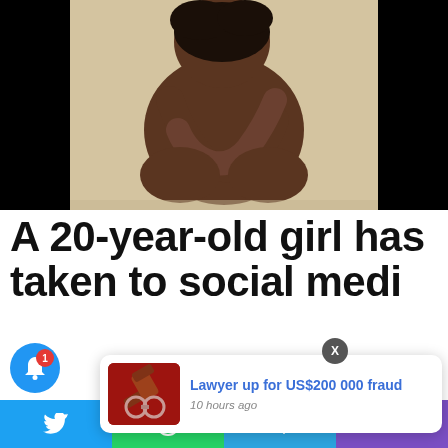[Figure (photo): A person curled up hugging their knees, shot from behind, against a white background with black side panels. The image conveys distress or vulnerability.]
A 20-year-old girl has taken to social media
[Figure (photo): Popup notification card showing a gavel and handcuffs image thumbnail with the headline 'Lawyer up for US$200 000 fraud' and timestamp '10 hours ago']
[Figure (infographic): Bottom share bar with Twitter, WhatsApp, Telegram, and phone icons. Bell notification icon with red badge showing '1' on the left side.]